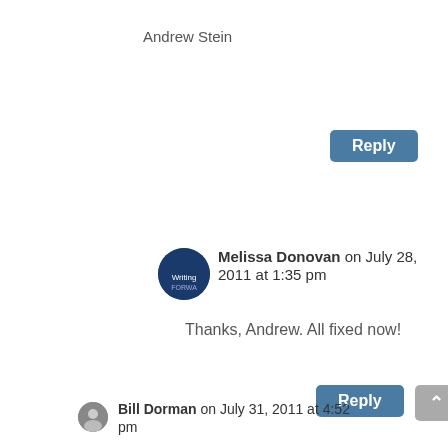Andrew Stein
Reply
Melissa Donovan on July 28, 2011 at 1:35 pm
Thanks, Andrew. All fixed now!
Reply
Bill Dorman on July 31, 2011 at 4:52 pm